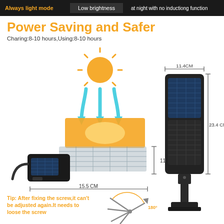Always light mode | Low brightness | at night with no inductiong function
Power Saving and Safer
Charing:8-10 hours,Using:8-10 hours
[Figure (illustration): Solar panel charging diagram showing sunlight arrows hitting a solar panel on a device, with dimension 15.5 CM width and 11.4 CM height labeled. Also shows a solar street light device with dimensions 11.4CM width and 23.4 CM height.]
Tip: After fixing the screw,it can't be adjusted again.It needs to loose the screw
[Figure (illustration): Screw rotation diagram showing 180° rotation indicator with arrows]